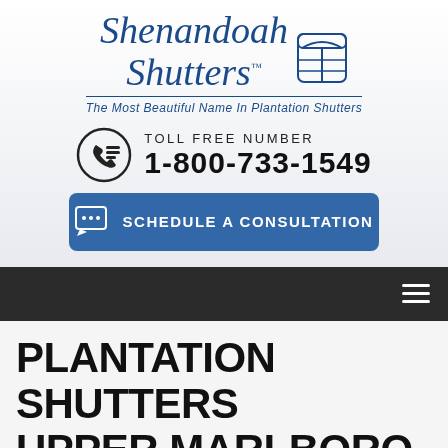[Figure (logo): Shenandoah Shutters logo with script text and window icon, tagline: The Most Beautiful Name In Plantation Shutters]
TOLL FREE NUMBER
1-800-733-1549
SCHEDULE A CONSULTATION
PLANTATION SHUTTERS UPPER MARLBORO
Upper Marlboro